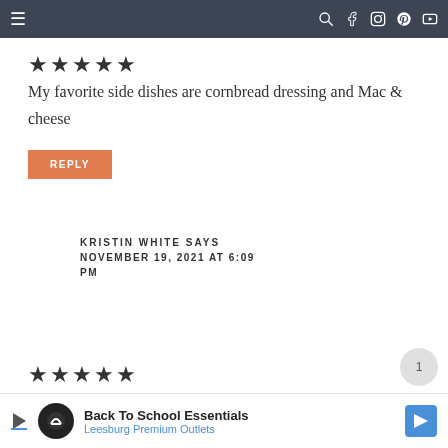Navigation bar with hamburger menu and social icons
[Figure (other): 5 filled star rating icons]
My favorite side dishes are cornbread dressing and Mac & cheese
REPLY
KRISTIN WHITE SAYS
NOVEMBER 19, 2021 AT 6:09 PM
[Figure (other): 5 filled star rating icons (partially visible)]
[Figure (other): Advertisement: Back To School Essentials - Leesburg Premium Outlets]